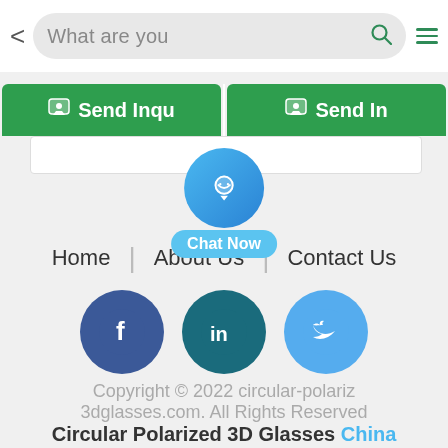[Figure (screenshot): Mobile browser top navigation bar with back arrow, search bar showing 'What are you' placeholder text with green search icon, and green hamburger menu icon]
[Figure (screenshot): Two green 'Send Inqu' (Send Inquiry) buttons side by side with chat icon]
[Figure (screenshot): Blue circular chat button with smiley face icon and 'Chat Now' label below it]
Home | About Us | Contact Us
[Figure (screenshot): Three social media icons: Facebook (blue), LinkedIn (dark teal), Twitter (light blue)]
Copyright © 2022 circular-polariz 3dglasses.com. All Rights Reserved Circular Polarized 3D Glasses China